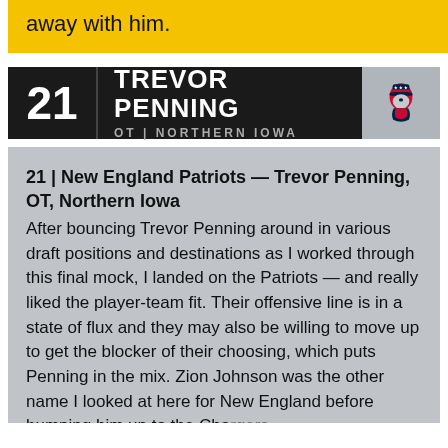away with him.
21 | TREVOR PENNING — OT | NORTHERN IOWA
21 | New England Patriots — Trevor Penning, OT, Northern Iowa
After bouncing Trevor Penning around in various draft positions and destinations as I worked through this final mock, I landed on the Patriots — and really liked the player-team fit. Their offensive line is in a state of flux and they may also be willing to move up to get the blocker of their choosing, which puts Penning in the mix. Zion Johnson was the other name I looked at here for New England before bumping him up to the Chargers.